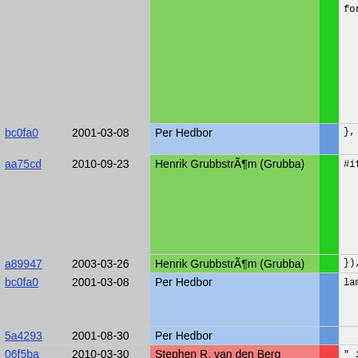| hash | date | author | bar | code |
| --- | --- | --- | --- | --- |
| (top) | (top) | (top) |  | fore
    if
    el
    re
}
retu
    re
}); |
| bc0fa0 | 2001-03-08 | Per Hedbor |  | }, |
| aa75cd | 2010-09-23 | Henrik GrubbstrÃ¶m (Grubba) |  | #if define
"  r
"  r
#endif /*
"  i
(< " |
| a89947 | 2003-03-26 | Henrik GrubbstrÃ¶m (Grubba) |  | }), "ip"
({ "user |
| bc0fa0 | 2001-03-08 | Per Hedbor |  | lambda
  retu
}, |
| 5a4293 | 2001-08-30 | Per Hedbor |  |  |
| 06f5ba | 2010-03-30 | Stephen R. van den Berg |  | "  i
" |
| a89947 | 2003-03-26 | Henrik GrubbstrÃ¶m (Grubba) |  | (<" U |
| 5a4293 | 2001-08-30 | Per Hedbor |  | // No n |